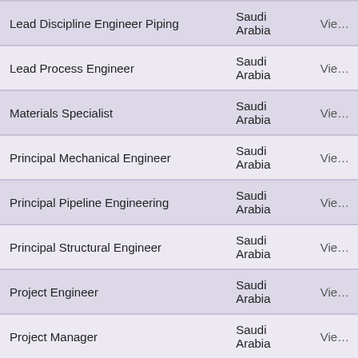| Job Title | Location | Action |
| --- | --- | --- |
| Lead Discipline Engineer Piping | Saudi Arabia | Vie… |
| Lead Process Engineer | Saudi Arabia | Vie… |
| Materials Specialist | Saudi Arabia | Vie… |
| Principal Mechanical Engineer | Saudi Arabia | Vie… |
| Principal Pipeline Engineering | Saudi Arabia | Vie… |
| Principal Structural Engineer | Saudi Arabia | Vie… |
| Project Engineer | Saudi Arabia | Vie… |
| Project Manager | Saudi Arabia | Vie… |
| Quality Assurance Manager | Saudi Arabia | Vie… |
| Senior Discipline Engineer Pipeline | Saudi Arabia | Vie… |